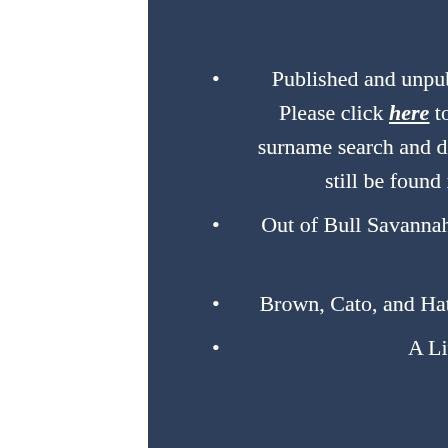Edgar.
Published and unpublished manuscripts of local family genealogy - Please click here to find a list of searchable surnames, if you do a surname search and do not get any results returned, your surname may still be found in our collection - please call us to verify.
Out of Bull Savannah; The Family of Joseph and Mary Harrington by W. Harrington.
Brown, Cato, and Hatfield Family Trees prepared by Aubrey Hatfield.
A Little History of Alcolu by Robert